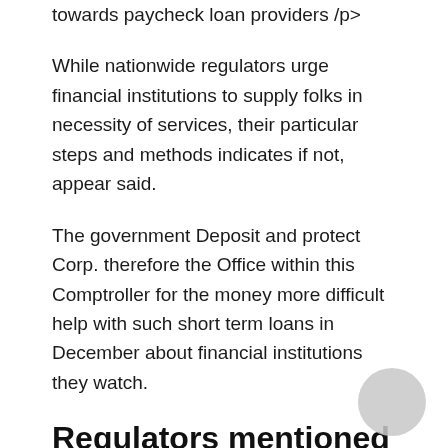towards paycheck loan providers /p>
While nationwide regulators urge financial institutions to supply folks in necessity of services, their particular steps and methods indicates if not, appear said.
The government Deposit and protect Corp. therefore the Office within this Comptroller for the money more difficult help with such short term loans in December about financial institutions they watch.
Regulators mentioned 1st deposit raise skilled some